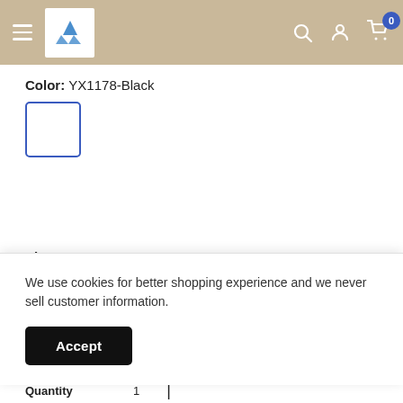Navigation header with hamburger menu, logo, search, account, and cart icons
Color: YX1178-Black
[Figure (other): Color swatch box with blue border, white/empty interior, selected color option for YX1178-Black]
Size: M
M | L | One Size
We use cookies for better shopping experience and we never sell customer information.
Accept
Quantity